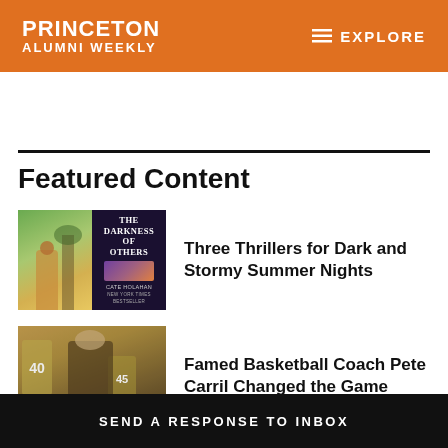PRINCETON ALUMNI WEEKLY — EXPLORE
Featured Content
[Figure (photo): Thumbnail composite: Princeton campus photo with person and book cover 'The Darkness of Others by Cate Holahan']
Three Thrillers for Dark and Stormy Summer Nights
[Figure (photo): Thumbnail photo of basketball players huddled around a coach]
Famed Basketball Coach Pete Carril Changed the Game
SEND A RESPONSE TO INBOX